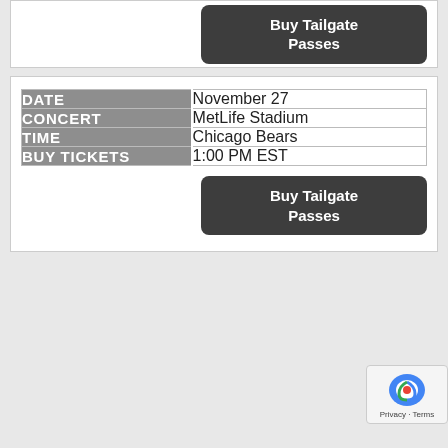Buy Tailgate Passes
|  |  |
| --- | --- |
| DATE | November 27 |
| CONCERT | MetLife Stadium |
| TIME | Chicago Bears |
| BUY TICKETS | 1:00 PM EST |
Buy Tailgate Passes
Privacy · Terms